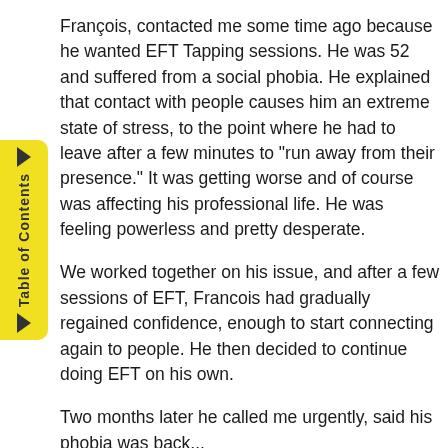François, contacted me some time ago because he wanted EFT Tapping sessions. He was 52 and suffered from a social phobia. He explained that contact with people causes him an extreme state of stress, to the point where he had to leave after a few minutes to "run away from their presence." It was getting worse and of course was affecting his professional life. He was feeling powerless and pretty desperate.
We worked together on his issue, and after a few sessions of EFT, Francois had gradually regained confidence, enough to start connecting again to people. He then decided to continue doing EFT on his own.
Two months later he called me urgently, said his phobia was back...
He did... She was a...